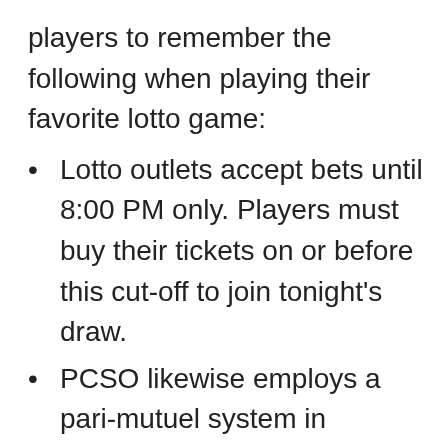players to remember the following when playing their favorite lotto game:
Lotto outlets accept bets until 8:00 PM only. Players must buy their tickets on or before this cut-off to join tonight's draw.
PCSO likewise employs a pari-mutuel system in determining the prize to be won by each winner.